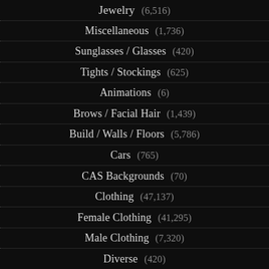Jewelry (6,516)
Miscellaneous (1,736)
Sunglasses / Glasses (420)
Tights / Stockings (625)
Animations (6)
Brows / Facial Hair (1,439)
Build / Walls / Floors (5,786)
Cars (765)
CAS Backgrounds (70)
Clothing (47,137)
Female Clothing (41,295)
Male Clothing (7,320)
Diverse (420)